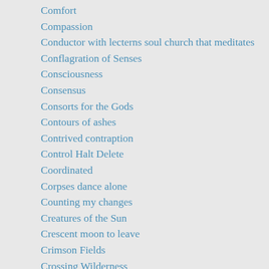Comfort
Compassion
Conductor with lecterns soul church that meditates
Conflagration of Senses
Consciousness
Consensus
Consorts for the Gods
Contours of ashes
Contrived contraption
Control Halt Delete
Coordinated
Corpses dance alone
Counting my changes
Creatures of the Sun
Crescent moon to leave
Crimson Fields
Crossing Wilderness
Crows invade my sight
Cutting through Slices
Cycles of Dark and Light